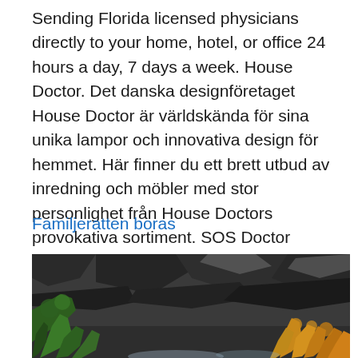Sending Florida licensed physicians directly to your home, hotel, or office 24 hours a day, 7 days a week. House Doctor. Det danska designföretaget House Doctor är världskända för sina unika lampor och innovativa design för hemmet. Här finner du ett brett utbud av inredning och möbler med stor personlighet från House Doctors provokativa sortiment. SOS Doctor platform is a third party provider.
Familjeratten boras
[Figure (photo): Mountain landscape with dark rocky cliffs, green conifer trees in the foreground and lower left, and yellow/orange autumn larch trees on the right side of the scene.]